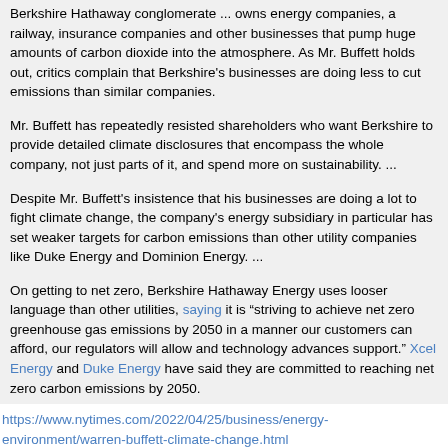Berkshire Hathaway conglomerate ... owns energy companies, a railway, insurance companies and other businesses that pump huge amounts of carbon dioxide into the atmosphere. As Mr. Buffett holds out, critics complain that Berkshire's businesses are doing less to cut emissions than similar companies.
Mr. Buffett has repeatedly resisted shareholders who want Berkshire to provide detailed climate disclosures that encompass the whole company, not just parts of it, and spend more on sustainability. ...
Despite Mr. Buffett's insistence that his businesses are doing a lot to fight climate change, the company's energy subsidiary in particular has set weaker targets for carbon emissions than other utility companies like Duke Energy and Dominion Energy. ...
On getting to net zero, Berkshire Hathaway Energy uses looser language than other utilities, saying it is "striving to achieve net zero greenhouse gas emissions by 2050 in a manner our customers can afford, our regulators will allow and technology advances support." Xcel Energy and Duke Energy have said they are committed to reaching net zero carbon emissions by 2050.
https://www.nytimes.com/2022/04/25/business/energy-environment/warren-buffett-climate-change.html
Proxy statement: